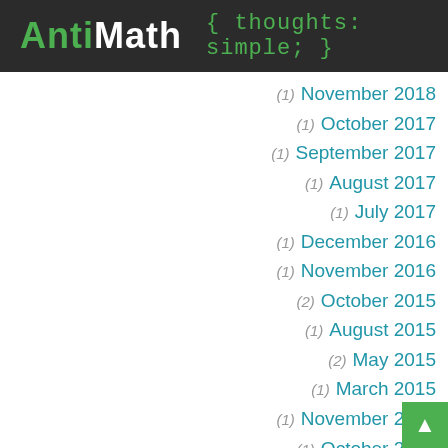AntiMath { thoughts: simple; }
(1) November 2018
(1) October 2017
(1) September 2017
(1) August 2017
(1) July 2017
(1) December 2016
(1) November 2016
(2) October 2015
(1) August 2015
(2) May 2015
(1) March 2015
(1) November 2014
(1) October 2014
(1) August 2014
(1) June 2014
(1) May 20...